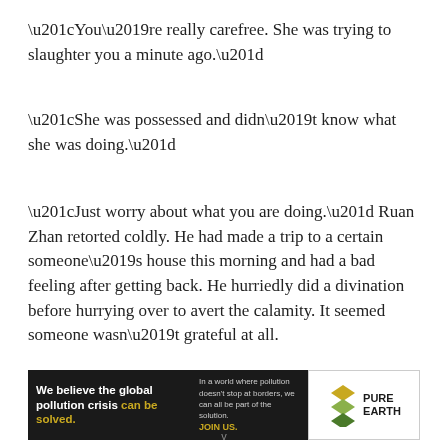“You’re really carefree. She was trying to slaughter you a minute ago.”
“She was possessed and didn’t know what she was doing.”
“Just worry about what you are doing.” Ruan Zhan retorted coldly. He had made a trip to a certain someone’s house this morning and had a bad feeling after getting back. He hurriedly did a divination before hurrying over to avert the calamity. It seemed someone wasn’t grateful at all.
[Figure (infographic): Pure Earth advertisement banner: black background on left with text 'We believe the global pollution crisis can be solved.' with 'can be solved.' in gold/yellow. Right side has small text 'In a world where pollution doesn’t stop at borders, we can all be part of the solution.' and 'JOIN US.' in gold. Far right shows Pure Earth logo with diamond/chevron shapes in gold and 'PURE EARTH' in bold black text.]
v